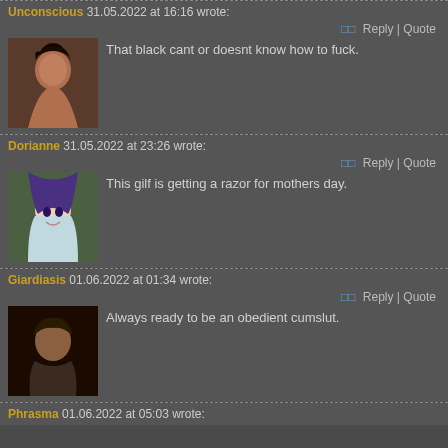Unconscious 31.05.2022 at 16:16 wrote:
That black cant or doesnt know how to fuck.
[Figure (photo): Avatar photo of user Unconscious]
Dorianne 31.05.2022 at 23:26 wrote:
This gilf is getting a razor for mothers day.
[Figure (photo): Avatar image of user Dorianne - anime character with purple hair]
Giardiasis 01.06.2022 at 01:34 wrote:
Always ready to be an obedient cumslut.
[Figure (photo): Avatar photo of user Giardiasis - dark figure]
Phrasma 01.06.2022 at 05:03 wrote: